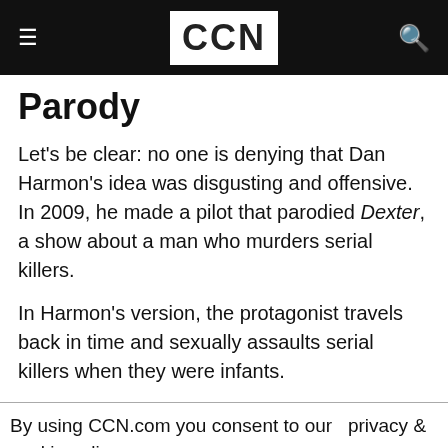CCN
Parody
Let's be clear: no one is denying that Dan Harmon's idea was disgusting and offensive. In 2009, he made a pilot that parodied Dexter, a show about a man who murders serial killers.
In Harmon's version, the protagonist travels back in time and sexually assaults serial killers when they were infants.
By using CCN.com you consent to our privacy & cookie policy. Continue